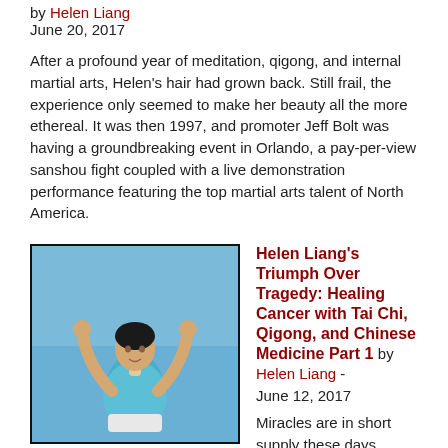by Helen Liang
June 20, 2017
After a profound year of meditation, qigong, and internal martial arts, Helen's hair had grown back. Still frail, the experience only seemed to make her beauty all the more ethereal. It was then 1997, and promoter Jeff Bolt was having a groundbreaking event in Orlando, a pay-per-view sanshou fight coupled with a live demonstration performance featuring the top martial arts talent of North America.
[Figure (photo): Woman in blue shirt with arms raised above head against a blue sky background]
Helen Liang's Triumph Over Tragedy: Healing Cancer with Tai Chi, Qigong, and Chinese Medicine Part 1 by Helen Liang - June 12, 2017
Miracles are in short supply these days, though we seek them daily. Sometimes we find them, or possibly they find us. Helen Liang, a beautiful young girl, lay dying in a Vancouver, Canada hospital bed, the victim of a rare and aggressive form of lymphoma (cancer). After a devastating course of chemotherapy failed to eradicate the disease, doctors told her that she had only two weeks to live.